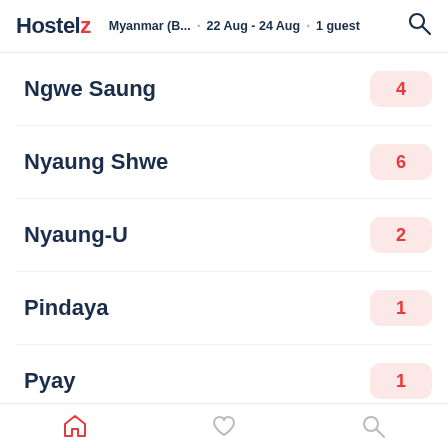Hostelz  Myanmar (B...  22 Aug - 24 Aug  1 guest
Ngwe Saung  4
Nyaung Shwe  6
Nyaung-U  2
Pindaya  1
Pyay  1
Pyin Oo Lwin  2
Yangon  41
Navigation bar with home, favorites, and search icons